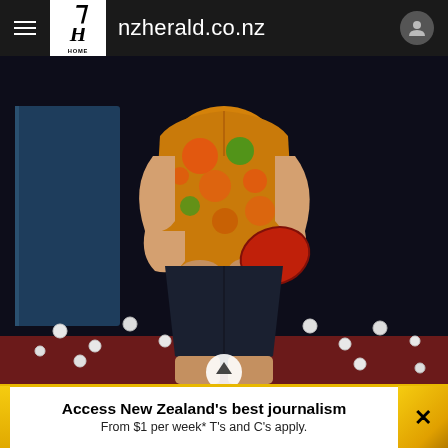nzherald.co.nz
[Figure (photo): A person wearing a yellow-orange floral shirt and dark shorts, holding a red table tennis paddle, standing in a darkened room with ping pong balls scattered on a red floor and blue panels in the background.]
Access New Zealand's best journalism From $1 per week* T's and C's apply.